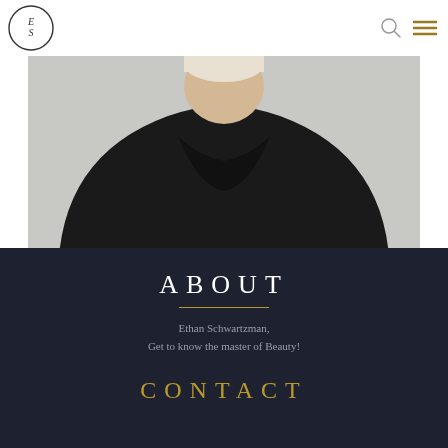ES logo, search icon, menu icon
[Figure (photo): Person wearing a black turtleneck sweater against a light grey background, shown from shoulders up]
ABOUT
Ethan Schwartzman,
Get to know the master of Beauty!
CONTACT